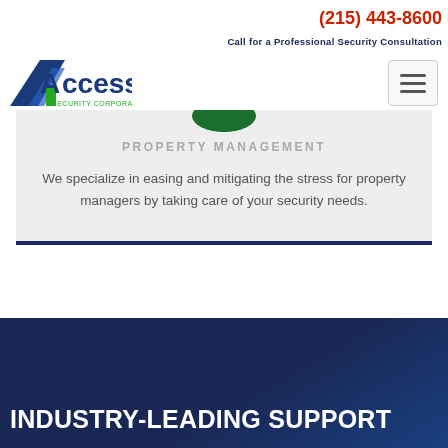(215) 443-8600
Call for a Professional Security Consultation
[Figure (logo): Access Security Corporation logo with blue triangle/arrow shape and green accent]
[Figure (other): Hamburger navigation menu button with three horizontal lines]
[Figure (other): Green circular icon partially visible at top of card]
PROPERTY MANAGEMENT
We specialize in easing and mitigating the stress for property managers by taking care of your security needs.
INDUSTRY-LEADING SUPPORT